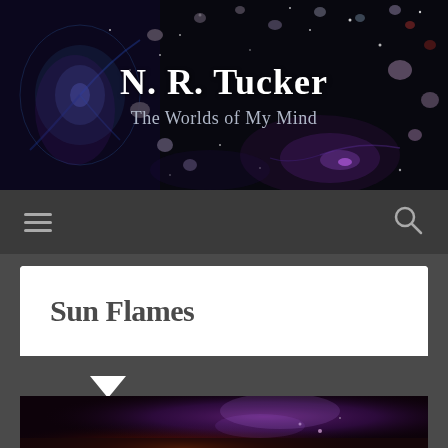N. R. Tucker
The Worlds of My Mind
[Figure (screenshot): Navigation bar with hamburger menu icon on left and search icon on right, dark gray background]
Sun Flames
[Figure (photo): Dark image showing a glowing purple hand over fire or flames against a dark background]